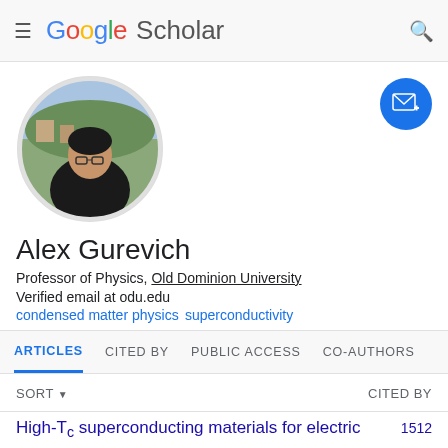Google Scholar
[Figure (photo): Circular profile photo of Alex Gurevich, a man in a black t-shirt with trees and buildings in background]
Alex Gurevich
Professor of Physics, Old Dominion University
Verified email at odu.edu
condensed matter physics
superconductivity
ARTICLES  CITED BY  PUBLIC ACCESS  CO-AUTHORS
SORT ▼  CITED BY
High-Tₓ superconducting materials for electric  1512